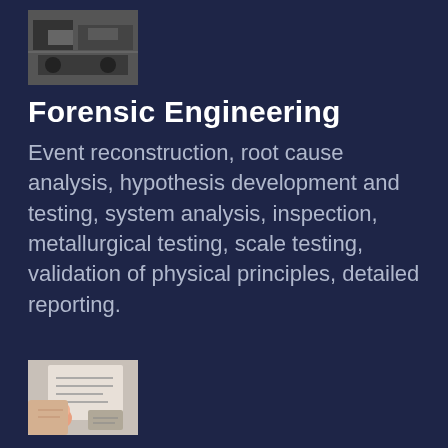[Figure (photo): Black and white thumbnail photo related to forensic engineering (machinery/accident scene)]
Forensic Engineering
Event reconstruction, root cause analysis, hypothesis development and testing, system analysis, inspection, metallurgical testing, scale testing, validation of physical principles, detailed reporting.
[Figure (photo): Color thumbnail photo related to technical audits (person reviewing documents/blueprints)]
Technical Audits
Verification of requirements, verification of design specifications, performance analysis, integrity, risk